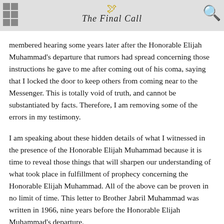The Final Call
membered hearing some years later after the Honorable Elijah Muhammad's departure that rumors had spread concerning those instructions he gave to me after coming out of his coma, saying that I locked the door to keep others from coming near to the Messenger. This is totally void of truth, and cannot be substantiated by facts. Therefore, I am removing some of the errors in my testimony.
I am speaking about these hidden details of what I witnessed in the presence of the Honorable Elijah Muhammad because it is time to reveal those things that will sharpen our understanding of what took place in fulfillment of prophecy concerning the Honorable Elijah Muhammad. All of the above can be proven in no limit of time. This letter to Brother Jabril Muhammad was written in 1966, nine years before the Honorable Elijah Muhammad's departure.
Going back in time, it was after the Honorable Elijah Muhammad fell into another coma in which he took on the appearance of death that several family members flew into Mexico accompanied by his doctor. They came to prepare to take him to Chicago to be admitted to